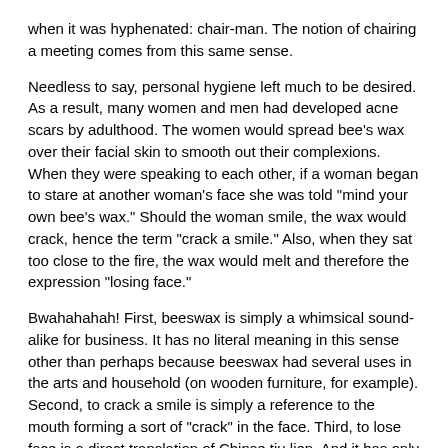when it was hyphenated: chair-man. The notion of chairing a meeting comes from this same sense.
Needless to say, personal hygiene left much to be desired. As a result, many women and men had developed acne scars by adulthood. The women would spread bee's wax over their facial skin to smooth out their complexions. When they were speaking to each other, if a woman began to stare at another woman's face she was told "mind your own bee's wax." Should the woman smile, the wax would crack, hence the term "crack a smile." Also, when they sat too close to the fire, the wax would melt and therefore the expression "losing face."
Bwahahahah! First, beeswax is simply a whimsical sound-alike for business. It has no literal meaning in this sense other than perhaps because beeswax had several uses in the arts and household (on wooden furniture, for example). Second, to crack a smile is simply a reference to the mouth forming a sort of "crack" in the face. Third, to lose face is a direct translation of Chinse tiu lien. And it has only been used in English since the 19th century. If it had arisen as the Who Knew? author suggests, it would have been in use since the 17th century, at least.